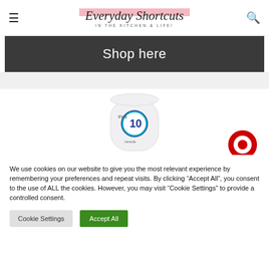Everyday Shortcuts IN THE KITCHEN & LIFE!
[Figure (illustration): Shop here dark banner with white text]
[Figure (photo): It's a 10 miracle hair product bottle (white) with Target logo partially visible in bottom right]
We use cookies on our website to give you the most relevant experience by remembering your preferences and repeat visits. By clicking "Accept All", you consent to the use of ALL the cookies. However, you may visit "Cookie Settings" to provide a controlled consent.
Cookie Settings  Accept All